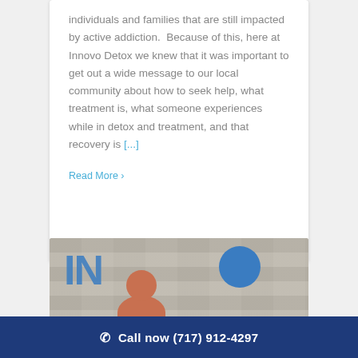individuals and families that are still impacted by active addiction.  Because of this, here at Innovo Detox we knew that it was important to get out a wide message to our local community about how to seek help, what treatment is, what someone experiences while in detox and treatment, and that recovery is [...]
Read More >
[Figure (photo): Photo showing the Innovo Detox sign on a stone wall with blue letters 'IN' visible, a blue circular logo, and a person with red/auburn hair in the foreground]
Call now (717) 912-4297